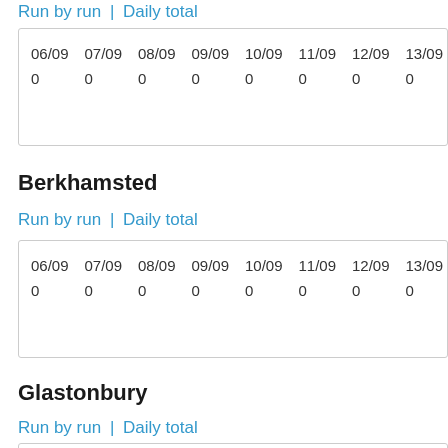Run by run | Daily total
| 06/09 | 07/09 | 08/09 | 09/09 | 10/09 | 11/09 | 12/09 | 13/09 |
| --- | --- | --- | --- | --- | --- | --- | --- |
| 0 | 0 | 0 | 0 | 0 | 0 | 0 | 0 |
Berkhamsted
Run by run | Daily total
| 06/09 | 07/09 | 08/09 | 09/09 | 10/09 | 11/09 | 12/09 | 13/09 |
| --- | --- | --- | --- | --- | --- | --- | --- |
| 0 | 0 | 0 | 0 | 0 | 0 | 0 | 0 |
Glastonbury
Run by run | Daily total
| 06/09 | 07/09 | 08/09 | 09/09 | 10/09 | 11/09 | 12/09 | 13/09 |
| --- | --- | --- | --- | --- | --- | --- | --- |